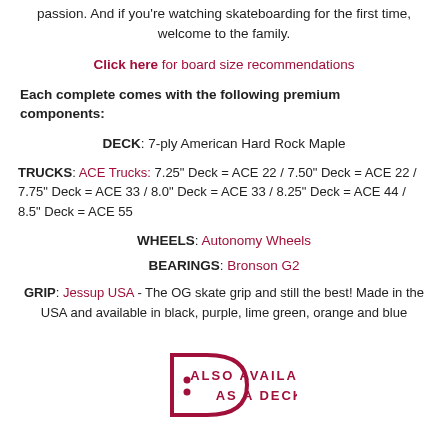passion. And if you're watching skateboarding for the first time, welcome to the family.
Click here for board size recommendations
Each complete comes with the following premium components:
DECK: 7-ply American Hard Rock Maple
TRUCKS: ACE Trucks: 7.25" Deck = ACE 22 / 7.50" Deck = ACE 22 / 7.75" Deck = ACE 33 / 8.0" Deck = ACE 33 / 8.25" Deck = ACE 44 / 8.5" Deck = ACE 55
WHEELS: Autonomy Wheels
BEARINGS: Bronson G2
GRIP: Jessup USA - The OG skate grip and still the best! Made in the USA and available in black, purple, lime green, orange and blue
[Figure (logo): D-shaped logo in crimson with two dots, next to text ALSO AVAILABLE AS A DECK in crimson bold spaced capitals]
SIZE TRUCK COLOR